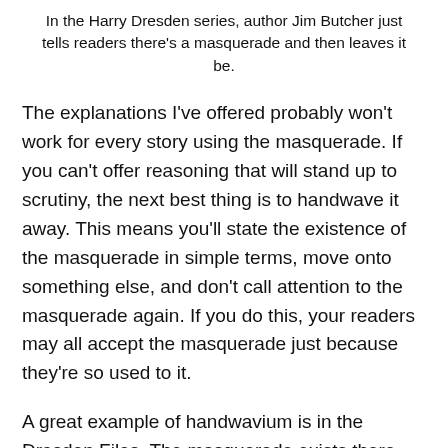In the Harry Dresden series, author Jim Butcher just tells readers there's a masquerade and then leaves it be.
The explanations I've offered probably won't work for every story using the masquerade. If you can't offer reasoning that will stand up to scrutiny, the next best thing is to handwave it away. This means you'll state the existence of the masquerade in simple terms, move onto something else, and don't call attention to the masquerade again. If you do this, your readers may all accept the masquerade just because they're so used to it.
A great example of handwavium is in the Dresden Files. The masquerade exists there, but protagonist Harry Dresden makes no effort to maintain the